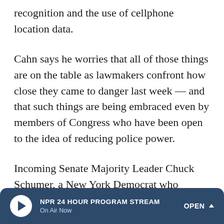recognition and the use of cellphone location data.
Cahn says he worries that all of those things are on the table as lawmakers confront how close they came to danger last week — and that such things are being embraced even by members of Congress who have been open to the idea of reducing police power.
Incoming Senate Majority Leader Chuck Schumer, a New York Democrat who previously supported such a move, has now proposed expanding the federal no-fly list to add Capitol rioters.
"These insurrectionists, many of whom are at large, should
NPR 24 HOUR PROGRAM STREAM On Air Now OPEN ^